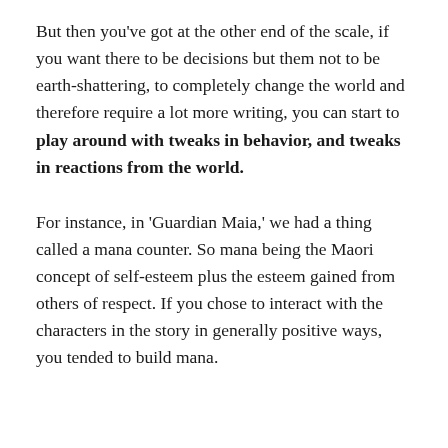But then you've got at the other end of the scale, if you want there to be decisions but them not to be earth-shattering, to completely change the world and therefore require a lot more writing, you can start to play around with tweaks in behavior, and tweaks in reactions from the world.
For instance, in 'Guardian Maia,' we had a thing called a mana counter. So mana being the Maori concept of self-esteem plus the esteem gained from others of respect. If you chose to interact with the characters in the story in generally positive ways, you tended to build mana.